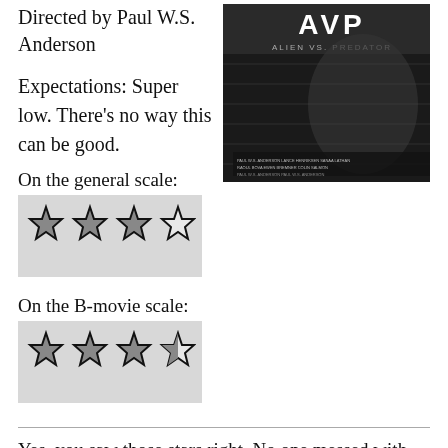Directed by Paul W.S. Anderson
[Figure (photo): Movie poster for AVP: Alien vs. Predator]
Expectations: Super low. There’s no way this can be good.
On the general scale:
[Figure (other): 3 out of 4 stars rating graphic (general scale)]
On the B-movie scale:
[Figure (other): 3.5 out of 4 stars rating graphic (B-movie scale)]
Yes, you saw those stars right. No one messed with my graphics. Against all odds, AVP is a highly enjoyable film. It successfully brings together the elements necessary, all while still feeling